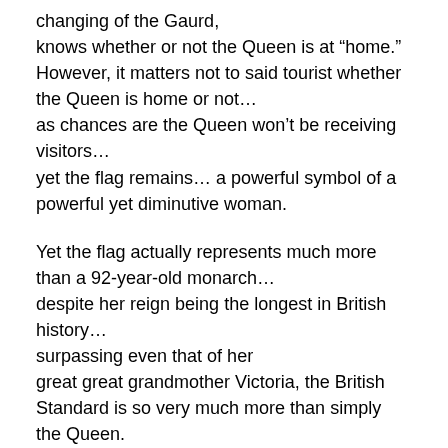changing of the Gaurd,
knows whether or not the Queen is at “home.”
However, it matters not to said tourist whether the Queen is home or not…
as chances are the Queen won’t be receiving visitors…
yet the flag remains… a powerful symbol of a powerful yet diminutive woman.
Yet the flag actually represents much more than a 92-year-old monarch…
despite her reign being the longest in British history…
surpassing even that of her
great great grandmother Victoria, the British Standard is so very much more than simply
the Queen.
Flags, and or standards, are powerful symbols